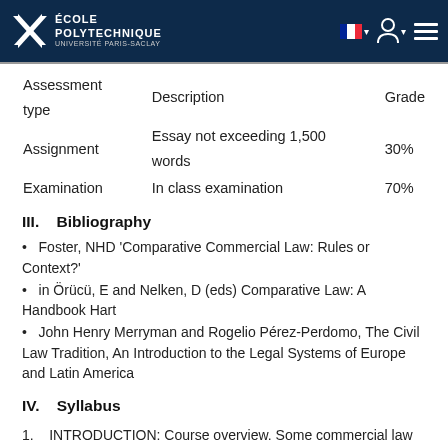École Polytechnique
| Assessment type | Description | Grade |
| --- | --- | --- |
| Assignment | Essay not exceeding 1,500 words | 30% |
| Examination | In class examination | 70% |
III.   Bibliography
Foster, NHD 'Comparative Commercial Law: Rules or Context?'
in Örücü, E and Nelken, D (eds) Comparative Law: A Handbook Hart
John Henry Merryman and Rogelio Pérez-Perdomo, The Civil Law Tradition, An Introduction to the Legal Systems of Europe and Latin America
IV.   Syllabus
1.   INTRODUCTION: Course overview. Some commercial law basics, contracts law basics, french compared to